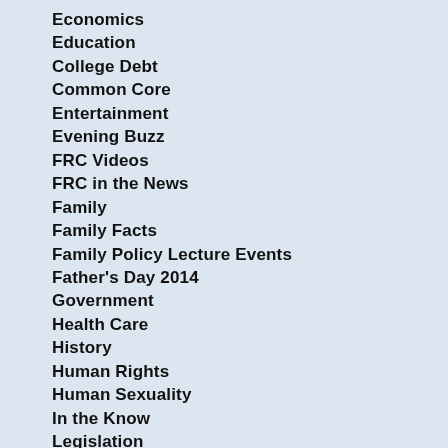Economics
Education
College Debt
Common Core
Entertainment
Evening Buzz
FRC Videos
FRC in the News
Family
Family Facts
Family Policy Lecture Events
Father's Day 2014
Government
Health Care
History
Human Rights
Human Sexuality
In the Know
Legislation
Life & Bioethics
Mapping America
Marriage